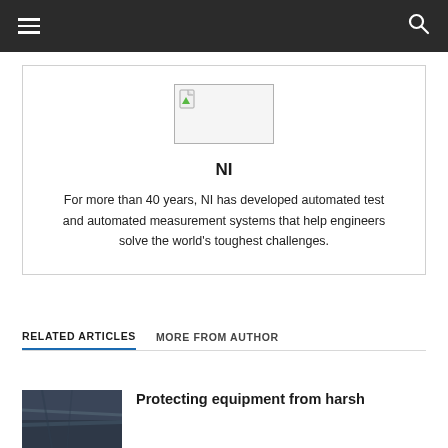NI - navigation header
[Figure (logo): Broken image placeholder representing NI logo]
NI
For more than 40 years, NI has developed automated test and automated measurement systems that help engineers solve the world's toughest challenges.
RELATED ARTICLES   MORE FROM AUTHOR
Protecting equipment from harsh